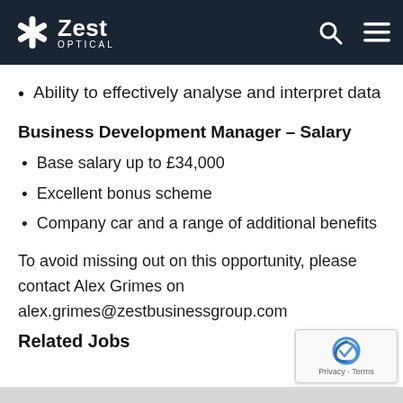Zest Optical
Ability to effectively analyse and interpret data
Business Development Manager – Salary
Base salary up to £34,000
Excellent bonus scheme
Company car and a range of additional benefits
To avoid missing out on this opportunity, please contact Alex Grimes on alex.grimes@zestbusinessgroup.com
Related Jobs